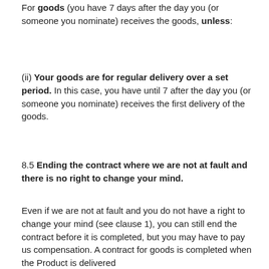For goods (you have 7 days after the day you (or someone you nominate) receives the goods, unless:
(ii) Your goods are for regular delivery over a set period. In this case, you have until 7 after the day you (or someone you nominate) receives the first delivery of the goods.
8.5 Ending the contract where we are not at fault and there is no right to change your mind.
Even if we are not at fault and you do not have a right to change your mind (see clause 1), you can still end the contract before it is completed, but you may have to pay us compensation. A contract for goods is completed when the Product is delivered...